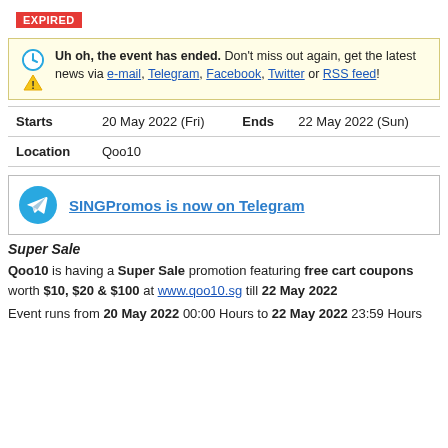EXPIRED
Uh oh, the event has ended. Don't miss out again, get the latest news via e-mail, Telegram, Facebook, Twitter or RSS feed!
| Starts | 20 May 2022 (Fri) | Ends | 22 May 2022 (Sun) |
| Location | Qoo10 |  |  |
[Figure (other): Telegram logo icon with link: SINGPromos is now on Telegram]
Super Sale
Qoo10 is having a Super Sale promotion featuring free cart coupons worth $10, $20 & $100 at www.qoo10.sg till 22 May 2022
Event runs from 20 May 2022 00:00 Hours to 22 May 2022 23:59 Hours